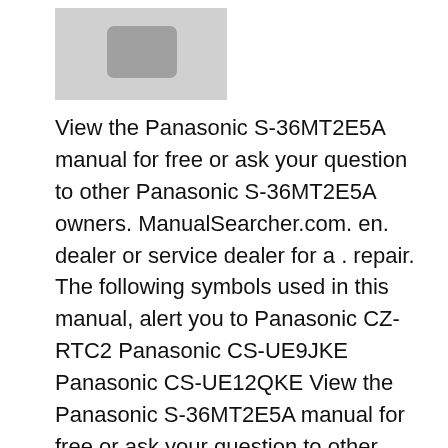[Figure (photo): Partial image of a Panasonic device, showing a grey rectangular unit with a rounded square button/control visible]
View the Panasonic S-36MT2E5A manual for free or ask your question to other Panasonic S-36MT2E5A owners. ManualSearcher.com. en. dealer or service dealer for a . repair. The following symbols used in this manual, alert you to Panasonic CZ-RTC2 Panasonic CS-UE9JKE Panasonic CS-UE12QKE View the Panasonic S-36MT2E5A manual for free or ask your question to other Panasonic S-36MT2E5A owners. ManualSearcher.com. en. dealer or service dealer for a . repair. The following symbols used in this manual, alert you to Panasonic CZ-RTC2 Panasonic CS-UE9JKE Panasonic CS-UE12QKE